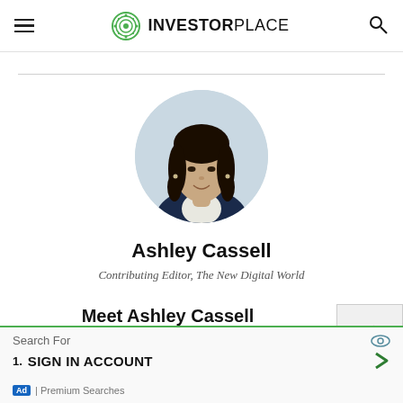InvestorPlace
[Figure (photo): Circular profile headshot of Ashley Cassell, a woman with dark curly hair wearing a navy blazer, photographed in a light blue/white background setting.]
Ashley Cassell
Contributing Editor, The New Digital World
Meet Ashley Cassell
Search For
1. SIGN IN ACCOUNT
Ad | Premium Searches